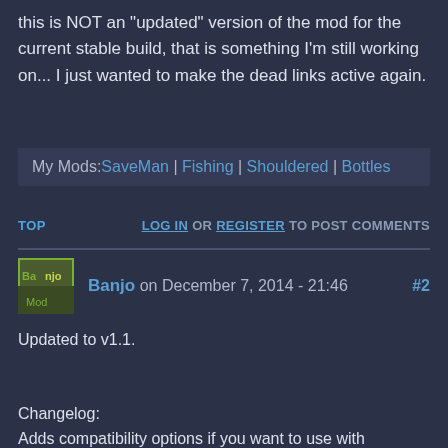this is NOT an "updated" version of the mod for the current stable build, that is something I'm still working on... I just wanted to make the dead links active again.
My Mods: SaveMan | Fishing | Shouldered | Bottles
TOP    LOG IN OR REGISTER TO POST COMMENTS
Banjo on December 7, 2014 - 21:46   #2
Updated to v1.1.
Changelog:
Adds compatibility options if you want to use with